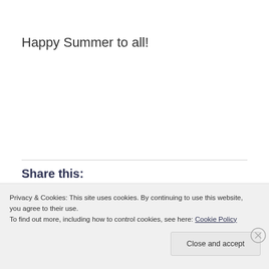Happy Summer to all!
Share this:
Privacy & Cookies: This site uses cookies. By continuing to use this website, you agree to their use.
To find out more, including how to control cookies, see here: Cookie Policy
Close and accept